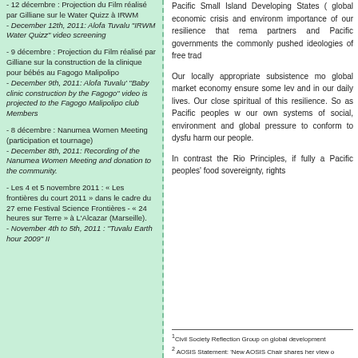- 12 décembre : Projection du Film réalisé par Gilliane sur le Water Quizz à IRWM
- December 12th, 2011: Alofa Tuvalu "IRWM Water Quizz" video screening
- 9 décembre : Projection du Film réalisé par Gilliane sur la construction de la clinique pour bébés au Fagogo Malipolipo
- December 9th, 2011: Alofa Tuvalu' "Baby clinic construction by the Fagogo" video is projected to the Fagogo Malipolipo club Members
- 8 décembre : Nanumea Women Meeting (participation et tournage)
- December 8th, 2011: Recording of the Nanumea Women Meeting and donation to the community.
- Les 4 et 5 novembre 2011 : « Les frontières du court 2011 » dans le cadre du 27 eme Festival Science Frontières - « 24 heures sur Terre » à L'Alcazar (Marseille).
- November 4th to 5th, 2011 : "Tuvalu Earth hour 2009" II
Pacific Small Island Developing States ( global economic crisis and environm importance of our resilience that rema partners and Pacific governments the commonly pushed ideologies of free trad
Our locally appropriate subsistence mo global market economy ensure some lev and in our daily lives. Our close spiritual of this resilience. So as Pacific peoples w our own systems of social, environment and global pressure to conform to dysfu harm our people.
In contrast the Rio Principles, if fully a Pacific peoples' food sovereignty, rights
1 Civil Society Reflection Group on global development
2 AOSIS Statement: 'New AOSIS Chair shares her view o